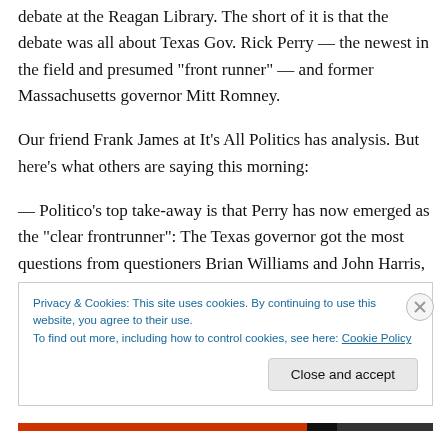debate at the Reagan Library. The short of it is that the debate was all about Texas Gov. Rick Perry — the newest in the field and presumed "front runner" — and former Massachusetts governor Mitt Romney.
Our friend Frank James at It's All Politics has analysis. But here's what others are saying this morning:
— Politico's top take-away is that Perry has now emerged as the "clear frontrunner": The Texas governor got the most questions from questioners Brian Williams and John Harris, but he also absorbed the most punches from his
Privacy & Cookies: This site uses cookies. By continuing to use this website, you agree to their use.
To find out more, including how to control cookies, see here: Cookie Policy